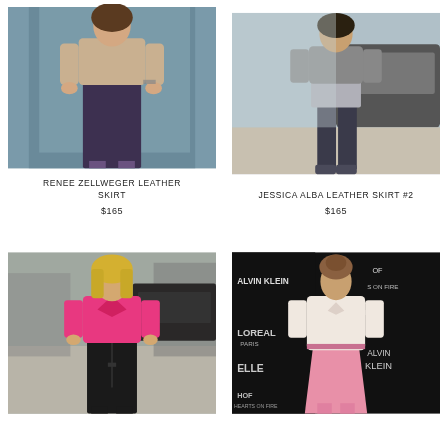[Figure (photo): Renee Zellweger wearing a beige sweater and dark purple/navy leather midi skirt, walking outside near glass doors]
RENEE ZELLWEGER LEATHER SKIRT
$165
[Figure (photo): Jessica Alba wearing a silver metallic mini skirt with dark tights and heels, walking outside near a vehicle]
JESSICA ALBA LEATHER SKIRT #2
$165
[Figure (photo): Blonde woman wearing a hot pink top and black leather pencil skirt, walking on a street]
[Figure (photo): Woman wearing a white blouse and pink leather midi skirt at an ELLE/Calvin Klein event on a red carpet]